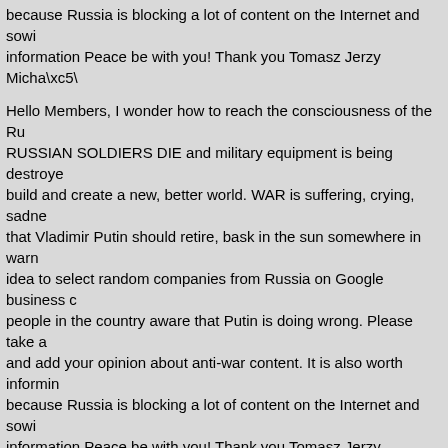because Russia is blocking a lot of content on the Internet and sowi information Peace be with you! Thank you Tomasz Jerzy Micha\xc5\
Hello Members, I wonder how to reach the consciousness of the Ru RUSSIAN SOLDIERS DIE and military equipment is being destroye build and create a new, better world. WAR is suffering, crying, sadne that Vladimir Putin should retire, bask in the sun somewhere in warn idea to select random companies from Russia on Google business c people in the country aware that Putin is doing wrong. Please take a and add your opinion about anti-war content. It is also worth informin because Russia is blocking a lot of content on the Internet and sowi information Peace be with you! Thank you Tomasz Jerzy Micha\xc5\
<a href="https://www.lebfun.com/white-broderie-anglaise-embroider mini dress</a> <a href="https://www.loanxht.com/seavees-platform- href="https://www.fatimahb.com/michael-kors-classic-fit-shirt-polofr": href="https://www.projoust.com/tan-carhartt-beanie-handfr">tan carh tailback-lenses-sunglasses">oakley tailback lenses</a> <a href="htt lvalverde http://www.lvalverde.net/
Hi there Do you want to get backlinks from domains that have tons o backlinks/
tell me about yourself essay <a href="https://essaymercantile.com/ "
cultural identity essay <a href="https://essaymercantile.com/ ">intro